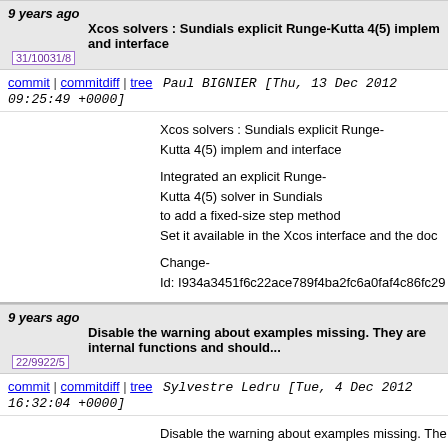9 years ago — Xcos solvers : Sundials explicit Runge-Kutta 4(5) implem and interface [31/10031/8]
commit | commitdiff | tree — Paul BIGNIER [Thu, 13 Dec 2012 09:25:49 +0000]
Xcos solvers : Sundials explicit Runge-Kutta 4(5) implem and interface

Integrated an explicit Runge-Kutta 4(5) solver in Sundials to add a fixed-size step method
Set it available in the Xcos interface and the doc

Change-Id: I934a3451f6c22ace789f4ba2fc6a0faf4c86fc29
9 years ago — Disable the warning about examples missing. They are internal functions and should... [22/9922/5]
commit | commitdiff | tree — Sylvestre Ledru [Tue, 4 Dec 2012 16:32:04 +0000]
Disable the warning about examples missing. The...

Change-Id: I3154293eeb3d8ace4b09185a2625cfbdfccbc9...
9 years ago — fprintf, fscanf & sscanf: Clearly tag them as